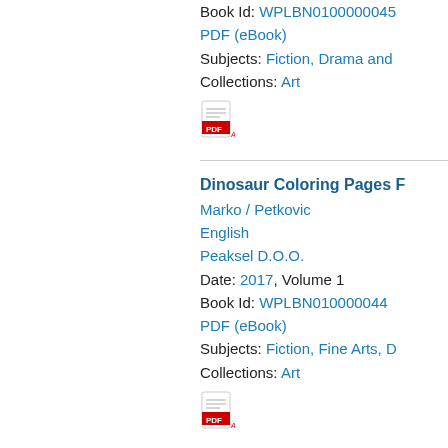Book Id: WPLBN0100000045...
PDF (eBook)
Subjects: Fiction, Drama and...
Collections: Art
[Figure (other): PDF icon (red Adobe PDF logo)]
Dinosaur Coloring Pages F...
Marko / Petkovic
English
Peaksel D.O.O.
Date: 2017, Volume 1
Book Id: WPLBN010000044...
PDF (eBook)
Subjects: Fiction, Fine Arts, D...
Collections: Art
[Figure (other): PDF icon (red Adobe PDF logo)]
Dog Coloring Pages : Colo...
Marko Petkovic
English